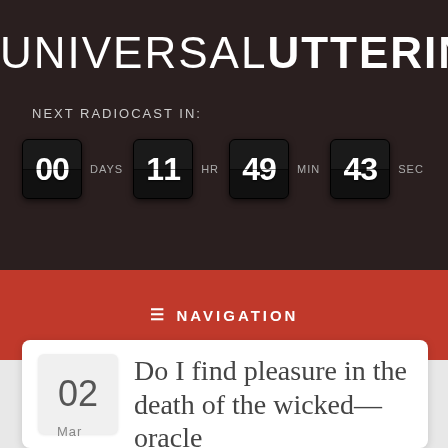UNIVERSAL UTTERINGS
NEXT RADIOCAST IN:
00 DAYS 11 HR 49 MIN 43 SEC
≡ NAVIGATION
02
Mar
Do I find pleasure in the death of the wicked—oracle